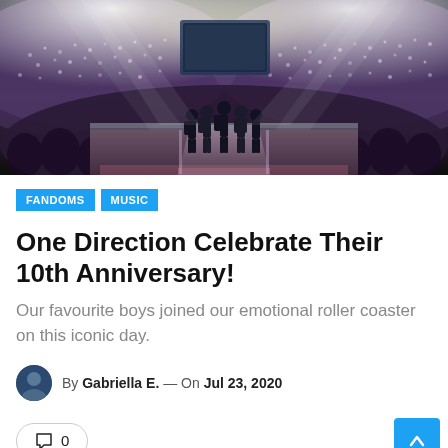[Figure (photo): Concert photo showing five band members standing on a stage runway viewed from behind, facing a massive packed stadium crowd with bright spotlights illuminating the arena.]
FANDOMS   MUSIC
One Direction Celebrate Their 10th Anniversary!
Our favourite boys joined our emotional roller coaster on this iconic day.
By Gabriella E. — On Jul 23, 2020
💬 0